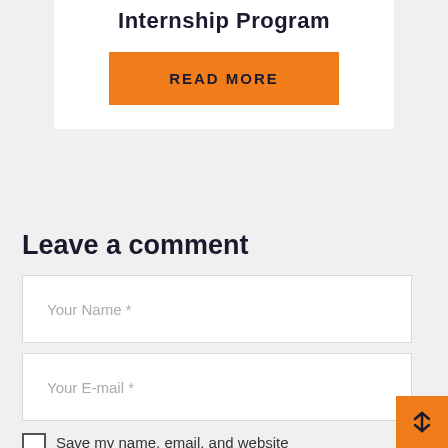Internship Program
READ MORE
Leave a comment
Your Name *
Your E-mail *
Save my name, email, and website in this browser for the next time I comment.